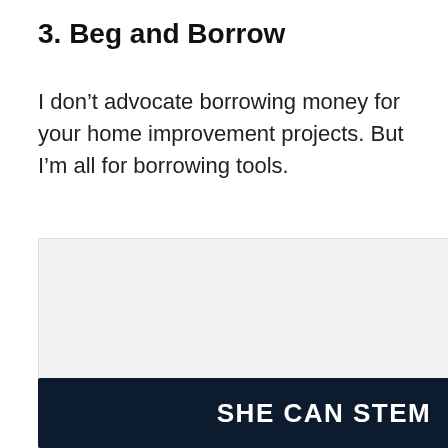3. Beg and Borrow
I don’t advocate borrowing money for your home improvement projects. But I’m all for borrowing tools.
[Figure (photo): Image area with slide dots and UI action buttons (heart/like button in blue, share button). A 'What's Next' panel shows a thumbnail and text 'Building a Custom...']
[Figure (infographic): Dark banner advertisement with bold white text reading 'SHE CAN STEM' with a logo on the right side]